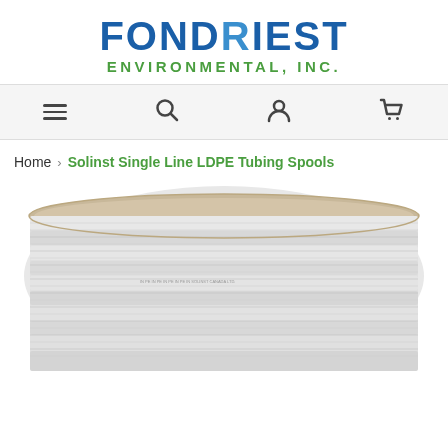[Figure (logo): Fondriest Environmental, Inc. logo with FONDRIEST in blue and green, ENVIRONMENTAL, INC. in green below]
[Figure (infographic): Navigation bar with hamburger menu, search, account, and cart icons]
Home > Solinst Single Line LDPE Tubing Spools
[Figure (photo): Photo of a white LDPE tubing spool product]